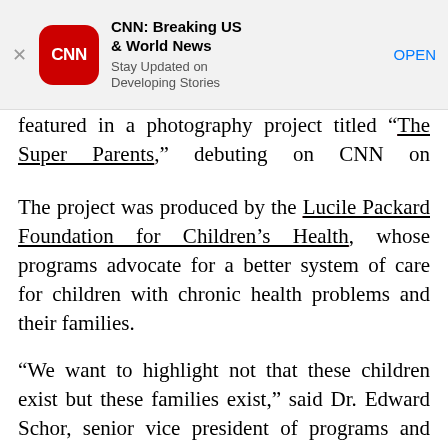[Figure (screenshot): CNN app advertisement banner with CNN logo icon, app title 'CNN: Breaking US & World News', subtitle 'Stay Updated on Developing Stories', and an OPEN button. A close (X) button is on the left.]
featured in a photography project titled “The Super Parents,” debuting on CNN on Wednesday.
The project was produced by the Lucile Packard Foundation for Children’s Health, whose programs advocate for a better system of care for children with chronic health problems and their families.
“We want to highlight not that these children exist but these families exist,” said Dr. Edward Schor, senior vice president of programs and partnerships at the foundation.
“I tend to not look on the lives of children with special needs as a child issue so much as it is a family issue,” he said. “If a doctor says, ‘Please give